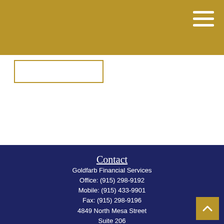[Figure (logo): Gold navigation header bar with hamburger menu icon (three white horizontal lines) in top right corner]
[Figure (logo): White logo placeholder box with gold border]
Contact
Goldfarb Financial Services
Office: (915) 298-9192
Mobile: (915) 433-9901
Fax: (915) 298-9196
4849 North Mesa Street
Suite 206
El Paso, TX 79912
thomas_goldfarb@glic.com
Quick Links
Retirement
Investment